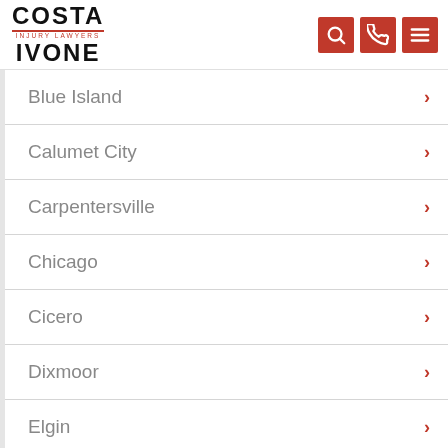Costa Ivone Injury Lawyers
Blue Island
Calumet City
Carpentersville
Chicago
Cicero
Dixmoor
Elgin
Fulton Market